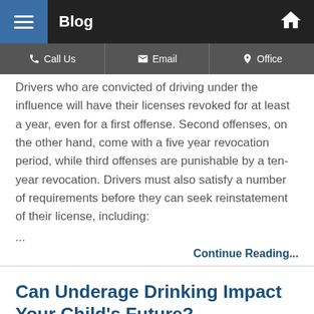Blog
Call Us | Email | Office
Drivers who are convicted of driving under the influence will have their licenses revoked for at least a year, even for a first offense. Second offenses, on the other hand, come with a five year revocation period, while third offenses are punishable by a ten-year revocation. Drivers must also satisfy a number of requirements before they can seek reinstatement of their license, including:
...
Continue Reading...
Can Underage Drinking Impact Your Child's Future?
Posted on September 30, 2020 in Juvenile...